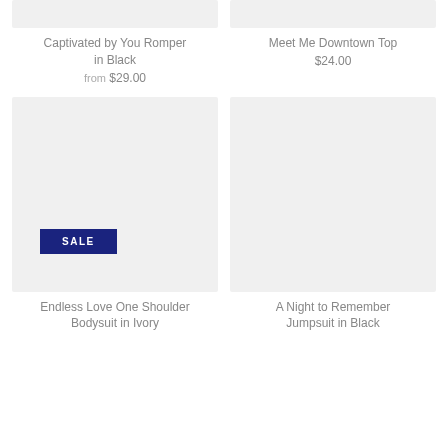[Figure (photo): Product image placeholder for Captivated by You Romper in Black (cropped top)]
Captivated by You Romper in Black
from $29.00
[Figure (photo): Product image placeholder for Meet Me Downtown Top (cropped top)]
Meet Me Downtown Top
$24.00
[Figure (photo): Product image for Endless Love One Shoulder Bodysuit in Ivory with SALE badge]
Endless Love One Shoulder Bodysuit in Ivory
[Figure (photo): Product image for A Night to Remember Jumpsuit in Black]
A Night to Remember Jumpsuit in Black